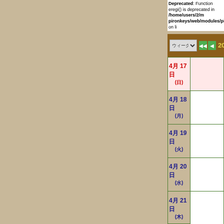Deprecated: Function eregi() is deprecated in /home/users/2/m pironkeys/web/modules/piCal/include/patTemplate.php on li
[Figure (screenshot): Navigation bar with dropdown selector, back arrow buttons, and date display showing 2022年 4月 第4週 on brown background]
| Date | Events |
| --- | --- |
| 4月 17日 (日) |  |
| 4月 18日 (月) |  |
| 4月 19日 (火) |  |
| 4月 20日 (水) |  |
| 4月 21日 (木) |  |